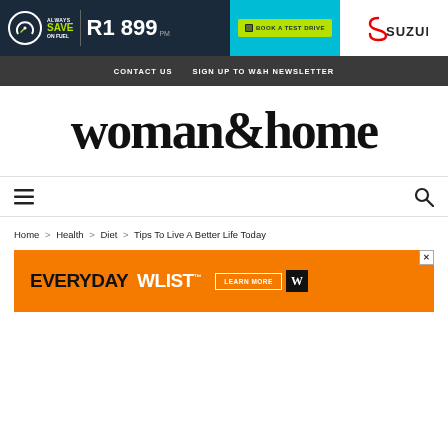[Figure (screenshot): Suzuki advertisement banner: dark navy left with 'ALWAYS SAVE ON FUEL' text and gauge icon, teal middle section with 'BOOK A TEST DRIVE' button, white right with Suzuki logo. Price R1 899 pm shown.]
CONTACT US   SIGN UP TO W&H NEWSLETTER
woman&home
[Figure (infographic): Navigation bar with hamburger menu icon on left and search (magnifying glass) icon on right]
Home > Health > Diet > Tips To Live A Better Life Today
[Figure (screenshot): Advertisement banner: orange background with 'EVERYDAY WLIST™ LEARN MORE W' text in black and white]